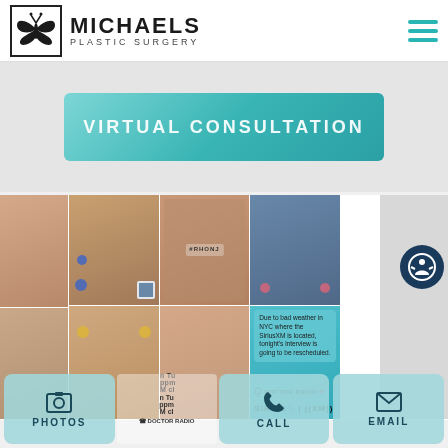[Figure (logo): Michaels Plastic Surgery logo with butterfly icon]
[Figure (screenshot): Virtual Consultation button — teal gradient rounded rectangle with white text]
[Figure (photo): Instagram-style grid of plastic surgery before/after photos and media appearances including RHONJ and Sirius XM Doctor Radio]
[Figure (screenshot): Bottom navigation toolbar with Photos, Call, and Email buttons in teal]